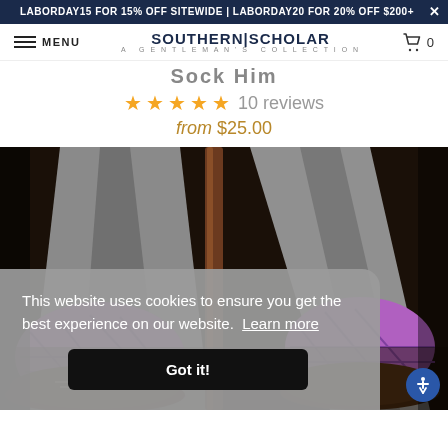LABORDAY15 FOR 15% OFF SITEWIDE | LABORDAY20 FOR 20% OFF $200+
MENU | SOUTHERN|SCHOLAR A GENTLEMAN'S COLLECTION | 0
10 reviews
from $25.00
[Figure (photo): Close-up photo of a man's legs wearing gray trousers, purple diamond-pattern dress socks, and brown leather dress shoes, seated with a wooden cane visible.]
This website uses cookies to ensure you get the best experience on our website. Learn more
Got it!